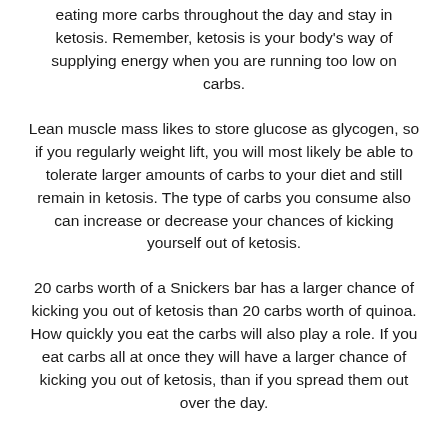eating more carbs throughout the day and stay in ketosis. Remember, ketosis is your body's way of supplying energy when you are running too low on carbs.
Lean muscle mass likes to store glucose as glycogen, so if you regularly weight lift, you will most likely be able to tolerate larger amounts of carbs to your diet and still remain in ketosis. The type of carbs you consume also can increase or decrease your chances of kicking yourself out of ketosis.
20 carbs worth of a Snickers bar has a larger chance of kicking you out of ketosis than 20 carbs worth of quinoa. How quickly you eat the carbs will also play a role. If you eat carbs all at once they will have a larger chance of kicking you out of ketosis, than if you spread them out over the day.